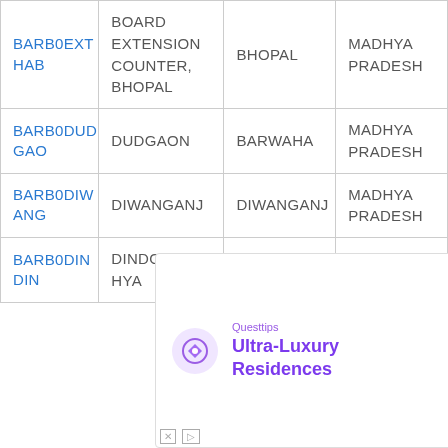| BARB0EXTHAB | BOARD EXTENSION COUNTER, BHOPAL | BHOPAL | MADHYA PRADESH |
| BARB0DUDGAO | DUDGAON | BARWAHA | MADHYA PRADESH |
| BARB0DIWANG | DIWANGANJ | DIWANGANJ | MADHYA PRADESH |
| BARB0DINDIN | DINDORI,MADHYA | DINDORI | MADHYA PRADESH |